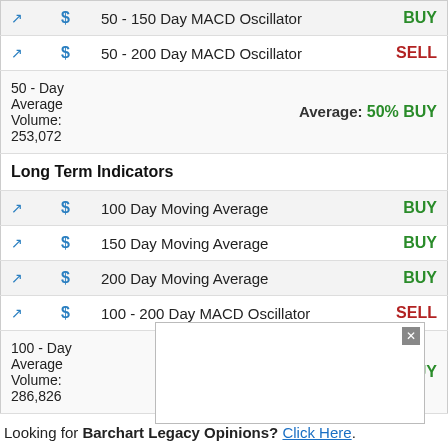| Icon | $ | Indicator | Signal |
| --- | --- | --- | --- |
| chart | $ | 50 - 150 Day MACD Oscillator | BUY |
| chart | $ | 50 - 200 Day MACD Oscillator | SELL |
|  |  | 50 - Day Average Volume: 253,072 | Average: 50% BUY |
|  |  | Long Term Indicators |  |
| chart | $ | 100 Day Moving Average | BUY |
| chart | $ | 150 Day Moving Average | BUY |
| chart | $ | 200 Day Moving Average | BUY |
| chart | $ | 100 - 200 Day MACD Oscillator | SELL |
|  |  | 100 - Day Average Volume: 286,826 | Average: 50% BUY |
Looking for Barchart Legacy Opinions? Click Here.
Barchart ...ading system ...market. ...l data and runs these prices through thirteen different technical